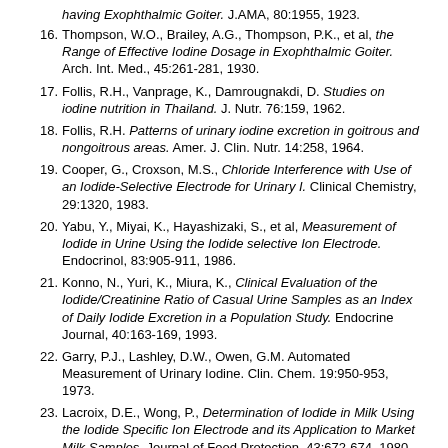15. [partial] having Exophthalmic Goiter. J.AMA, 80:1955, 1923.
16. Thompson, W.O., Brailey, A.G., Thompson, P.K., et al, the Range of Effective Iodine Dosage in Exophthalmic Goiter. Arch. Int. Med., 45:261-281, 1930.
17. Follis, R.H., Vanprage, K., Damrougnakdi, D. Studies on iodine nutrition in Thailand. J. Nutr. 76:159, 1962.
18. Follis, R.H. Patterns of urinary iodine excretion in goitrous and nongoitrous areas. Amer. J. Clin. Nutr. 14:258, 1964.
19. Cooper, G., Croxson, M.S., Chloride Interference with Use of an Iodide-Selective Electrode for Urinary I. Clinical Chemistry, 29:1320, 1983.
20. Yabu, Y., Miyai, K., Hayashizaki, S., et al, Measurement of Iodide in Urine Using the Iodide selective Ion Electrode. Endocrinol, 83:905-911, 1986.
21. Konno, N., Yuri, K., Miura, K., Clinical Evaluation of the Iodide/Creatinine Ratio of Casual Urine Samples as an Index of Daily Iodide Excretion in a Population Study. Endocrine Journal, 40:163-169, 1993.
22. Garry, P.J., Lashley, D.W., Owen, G.M. Automated Measurement of Urinary Iodine. Clin. Chem. 19:950-953, 1973.
23. Lacroix, D.E., Wong, P., Determination of Iodide in Milk Using the Iodide Specific Ion Electrode and its Application to Market Milk Samples. Journal of Food Protection, 43:672-674, 1980.
24. Gushurst, C.A., Mueller, J.A., Green, J.A., et al, Breast Milk Iodide: Reassessment in the 1980's. Pediatrics